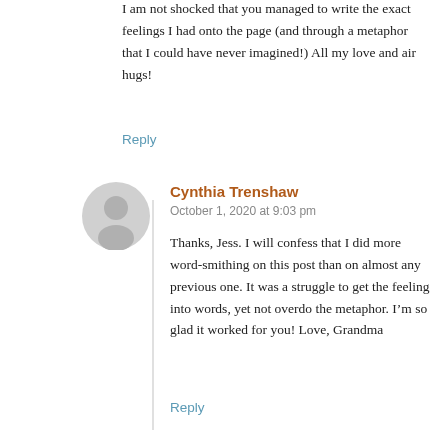I am not shocked that you managed to write the exact feelings I had onto the page (and through a metaphor that I could have never imagined!) All my love and air hugs!
Reply
[Figure (illustration): Generic user avatar: light gray circle with a darker gray silhouette of a person]
Cynthia Trenshaw
October 1, 2020 at 9:03 pm
Thanks, Jess. I will confess that I did more word-smithing on this post than on almost any previous one. It was a struggle to get the feeling into words, yet not overdo the metaphor. I’m so glad it worked for you! Love, Grandma
Reply